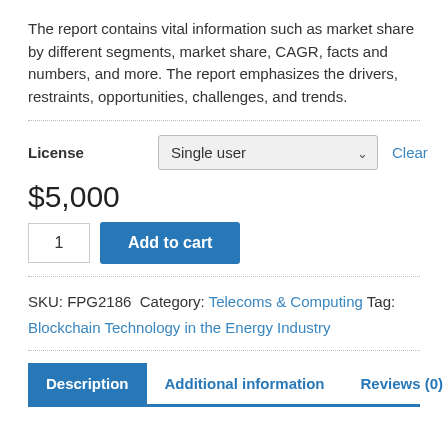The report contains vital information such as market share by different segments, market share, CAGR, facts and numbers, and more. The report emphasizes the drivers, restraints, opportunities, challenges, and trends.
License  Single user  Clear
$5,000
1  Add to cart
SKU: FPG2186 Category: Telecoms & Computing Tag: Blockchain Technology in the Energy Industry
Description  Additional information  Reviews (0)